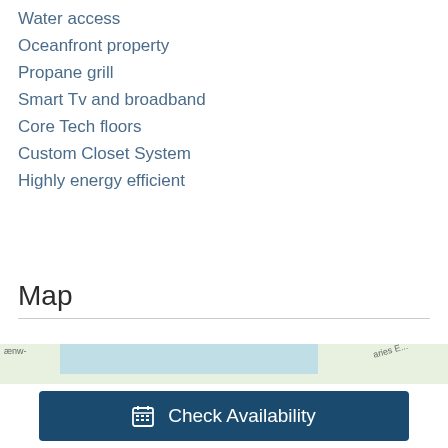Water access
Oceanfront property
Propane grill
Smart Tv and broadband
Core Tech floors
Custom Closet System
Highly energy efficient
Map
[Figure (map): Partial map view showing Map and Satellite toggle buttons, a map area with blue water region, and an expand icon]
Check Availability